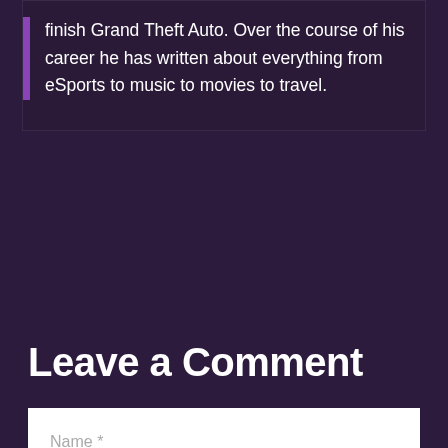finish Grand Theft Auto. Over the course of his career he has written about everything from eSports to music to movies to travel.
Leave a Comment
Name *
Email *
Comment *